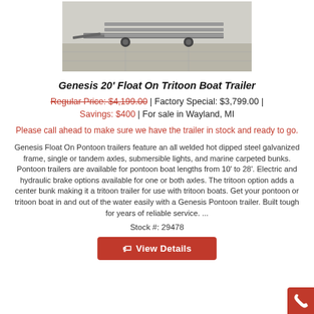[Figure (photo): Photo of a Genesis 20' Float On Tritoon Boat Trailer on a concrete surface]
Genesis 20' Float On Tritoon Boat Trailer
Regular Price: $4,199.00 | Factory Special: $3,799.00 | Savings: $400 | For sale in Wayland, MI
Please call ahead to make sure we have the trailer in stock and ready to go.
Genesis Float On Pontoon trailers feature an all welded hot dipped steel galvanized frame, single or tandem axles, submersible lights, and marine carpeted bunks. Pontoon trailers are available for pontoon boat lengths from 10' to 28'. Electric and hydraulic brake options available for one or both axles. The tritoon option adds a center bunk making it a tritoon trailer for use with tritoon boats. Get your pontoon or tritoon boat in and out of the water easily with a Genesis Pontoon trailer. Built tough for years of reliable service. ...
Stock #: 29478
View Details